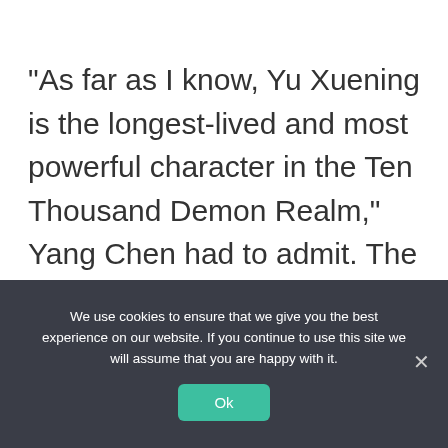“As far as I know, Yu Xuening is the longest-lived and most powerful character in the Ten Thousand Demon Realm,” Yang Chen had to admit. The world was originally divided into three factions; the leaders of the Dragon Race and the Demonic Cultivator territory have changed, but only the Demon Clan has always respected Yu Xuening, and she is truly
We use cookies to ensure that we give you the best experience on our website. If you continue to use this site we will assume that you are happy with it.